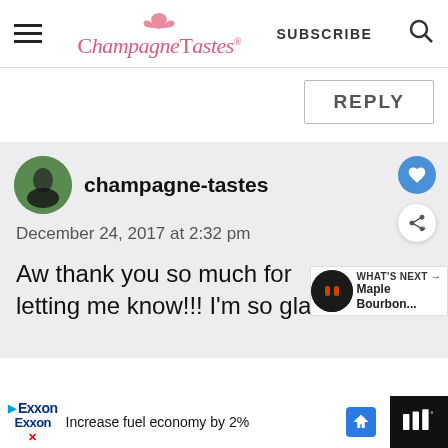Champagne Tastes — SUBSCRIBE
REPLY
champagne-tastes
December 24, 2017 at 2:32 pm
Aw thank you so much for letting me know!!! I'm so glad
WHAT'S NEXT → Maple Bourbon...
[Figure (screenshot): Exxon advertisement banner: Increase fuel economy by 2%]